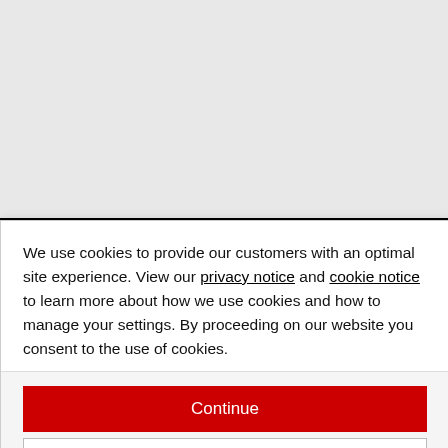[Figure (screenshot): Black banner header with broken image icon in top left]
🛒 Shopping Cart
⊘ Settings
We use cookies to provide our customers with an optimal site experience. View our privacy notice and cookie notice to learn more about how we use cookies and how to manage your settings. By proceeding on our website you consent to the use of cookies.
Continue
Exit
Privacy Notice
Japan   Italy   Brazil